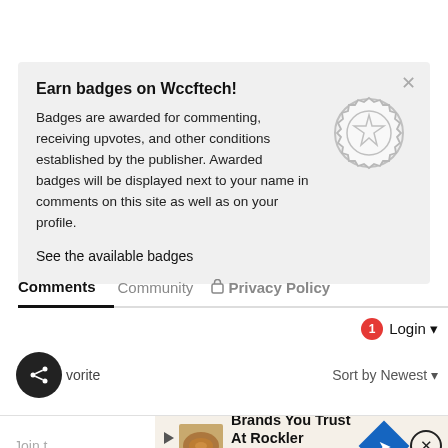Earn badges on Wccftech!
Badges are awarded for commenting, receiving upvotes, and other conditions established by the publisher. Awarded badges will be displayed next to your name in comments on this site as well as on your profile.
See the available badges
Comments  Community  🔒 Privacy Policy
Login ▾
Sort by Newest ▾
[Figure (screenshot): Ad banner: Brands You Trust At Rockler — Rockler Woodworking and Har.]